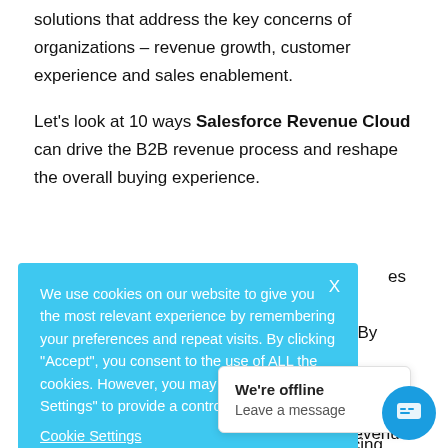solutions that address the key concerns of organizations – revenue growth, customer experience and sales enablement.
Let's look at 10 ways Salesforce Revenue Cloud can drive the B2B revenue process and reshape the overall buying experience.
[Figure (screenshot): Cookie consent banner overlay on the webpage with light blue background, containing text about cookie usage and a 'Cookie Settings' link. Partially obscures background text about revenue processes.]
[Figure (screenshot): Chat popup showing 'We're offline' and 'Leave a message' text, with a blue circular chat button in the bottom right corner.]
management approach enabled through Revenue